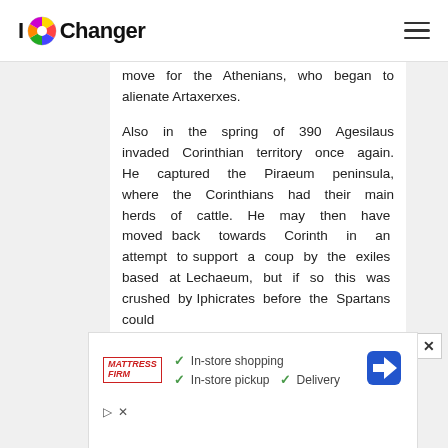IOChanger
move for the Athenians, who began to alienate Artaxerxes.

Also in the spring of 390 Agesilaus invaded Corinthian territory once again. He captured the Piraeum peninsula, where the Corinthians had their main herds of cattle. He may then have moved back towards Corinth in an attempt to support a coup by the exiles based at Lechaeum, but if so this was crushed by Iphicrates before the Spartans could
[Figure (screenshot): Mattress Firm advertisement showing in-store shopping, in-store pickup, and delivery options with a navigation icon]